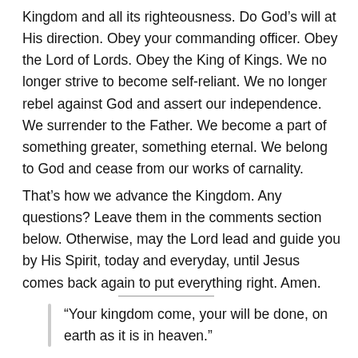Kingdom and all its righteousness. Do God’s will at His direction. Obey your commanding officer. Obey the Lord of Lords. Obey the King of Kings. We no longer strive to become self-reliant. We no longer rebel against God and assert our independence. We surrender to the Father. We become a part of something greater, something eternal. We belong to God and cease from our works of carnality.
That’s how we advance the Kingdom. Any questions? Leave them in the comments section below. Otherwise, may the Lord lead and guide you by His Spirit, today and everyday, until Jesus comes back again to put everything right. Amen.
“Your kingdom come, your will be done, on earth as it is in heaven.”